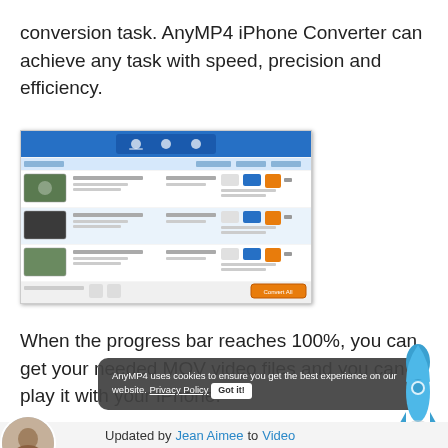conversion task. AnyMP4 iPhone Converter can achieve any task with speed, precision and efficiency.
[Figure (screenshot): Screenshot of AnyMP4 iPhone Converter software interface showing video conversion tasks with a blue toolbar, three video entries with thumbnails and conversion settings, and an orange Convert All button at the bottom.]
When the progress bar reaches 100%, you can get your needed MOV video files and you can play it with your iPhone.
AnyMP4 uses cookies to ensure you get the best experience on our website. Privacy Policy  Got it!
[Figure (illustration): Blue rocket illustration]
Updated by Jean Aimee to Video